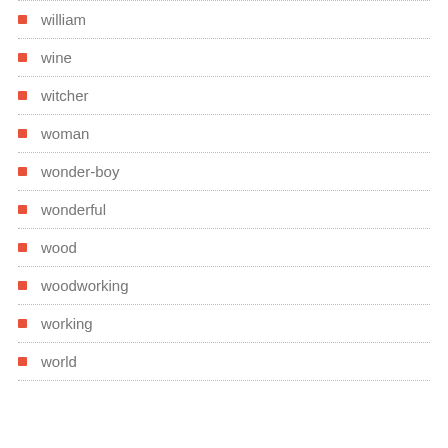william
wine
witcher
woman
wonder-boy
wonderful
wood
woodworking
working
world